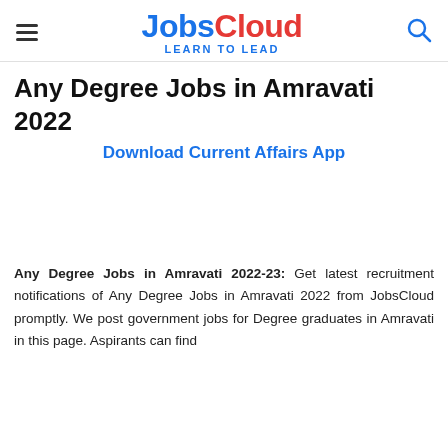JobsCloud LEARN TO LEAD
Any Degree Jobs in Amravati 2022
Download Current Affairs App
Any Degree Jobs in Amravati 2022-23: Get latest recruitment notifications of Any Degree Jobs in Amravati 2022 from JobsCloud promptly. We post government jobs for Degree graduates in Amravati in this page. Aspirants can find